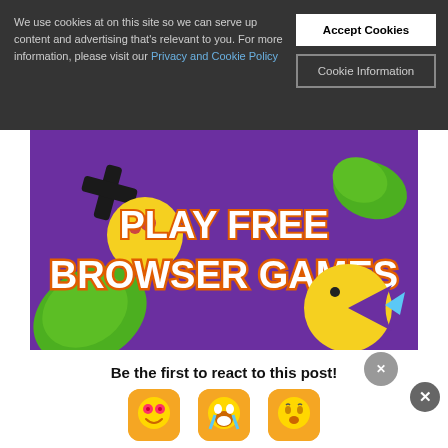We use cookies at on this site so we can serve up content and advertising that's relevant to you. For more information, please visit our Privacy and Cookie Policy
Accept Cookies
Cookie Information
[Figure (illustration): Colorful game advertisement banner with purple background showing 3D emoji characters and text reading PLAY FREE BROWSER GAMES]
Be the first to react to this post!
[Figure (illustration): Three emoji reaction buttons: heart-eyes emoji, laughing-crying emoji, and surprised emoji on yellow/orange rounded square backgrounds]